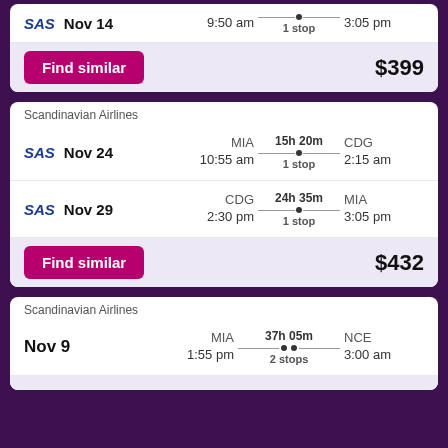SAS Nov 14 | MIA 9:50 am | 1 stop | 3:05 pm
Find similar | $399
Scandinavian Airlines
SAS Nov 24 | MIA 10:55 am | 15h 20m 1 stop | CDG 2:15 am
SAS Nov 29 | CDG 2:30 pm | 24h 35m 1 stop | MIA 3:05 pm
Find similar | $432
Scandinavian Airlines
Nov 9 | MIA 1:55 pm | 37h 05m 2 stops | NCE 3:00 am